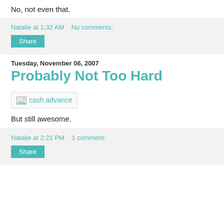No, not even that.
Natalie at 1:32 AM   No comments:
Share
Tuesday, November 06, 2007
Probably Not Too Hard
[Figure (other): cash advance image placeholder]
But still awesome.
Natalie at 2:21 PM   1 comment:
Share